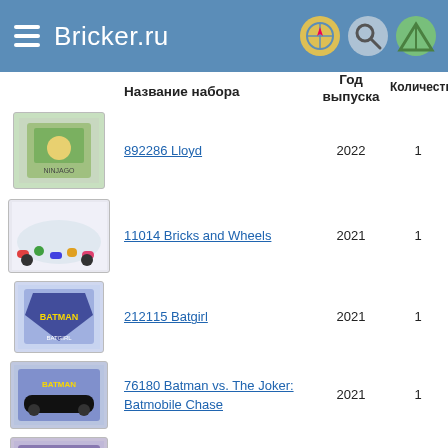Bricker.ru
|  | Название набора | Год выпуска | Количество |
| --- | --- | --- | --- |
| [image] | 892286 Lloyd | 2022 | 1 |
| [image] | 11014 Bricks and Wheels | 2021 | 1 |
| [image] | 212115 Batgirl | 2021 | 1 |
| [image] | 76180 Batman vs. The Joker: Batmobile Chase | 2021 | 1 |
| [image] | 76188 Batman Classic TV Series Batmobile | 2021 | 1 |
| [image] | 76200 Bro Thor's New... | 2021 | 1 |